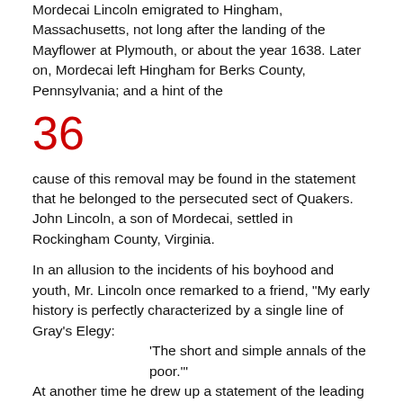Mordecai Lincoln emigrated to Hingham, Massachusetts, not long after the landing of the Mayflower at Plymouth, or about the year 1638. Later on, Mordecai left Hingham for Berks County, Pennsylvania; and a hint of the
36
cause of this removal may be found in the statement that he belonged to the persecuted sect of Quakers. John Lincoln, a son of Mordecai, settled in Rockingham County, Virginia.
In an allusion to the incidents of his boyhood and youth, Mr. Lincoln once remarked to a friend, "My early history is perfectly characterized by a single line of Gray's Elegy:
‘The short and simple annals of the poor.’"
At another time he drew up a statement of the leading events in his career, at the request of Hon. J. W. Fell, of Bloomington, Illinois.
Lincoln's Autobiography.
"I was born Feb. 12, 1809, in Hardin County, Kentucky. My parents were both born in Virginia, of (indistinguishable families -- second families, perhaps I should say. My mother, who died in my tenth year, was of a family of the name of Hanks, some of whom now